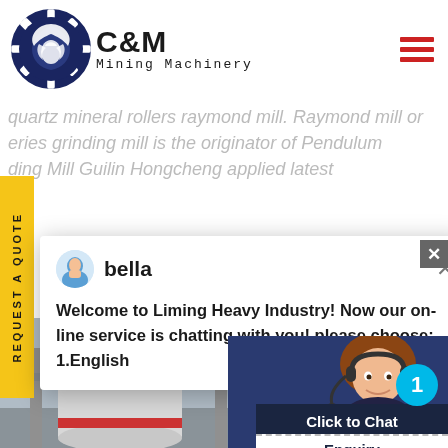[Figure (logo): C&M Mining Machinery logo with eagle/gear icon in navy blue circle and company name text]
quartz mineral rollers raymond mill. Raymond mill or eries grinding mill is the originator of Pendulum ding Mill Guilin Hongcheng applied latest
[Figure (screenshot): Chat popup widget from Liming Heavy Industry. Avatar of 'bella', message: Welcome to Liming Heavy Industry! Now our on-line service is chatting with you! please choose: 1.English]
na mill industry . Whatever your nd the perfect service-oriented
[Figure (photo): Customer service representative woman wearing headset, smiling. Blue notification badge with number 1.]
Click to Chat
Enquiry
[Figure (photo): Industrial mill machinery interior photograph, large white cylindrical equipment]